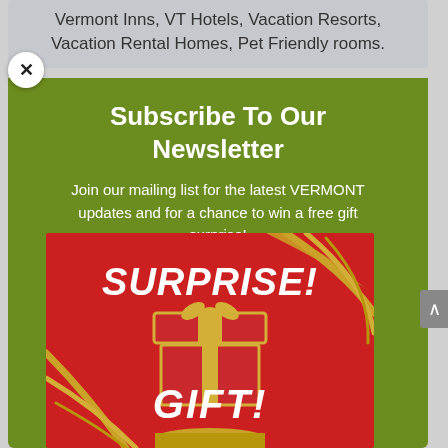Vermont Inns, VT Hotels, Vacation Resorts, Vacation Rental Homes, Pet Friendly rooms.
Subscribe To Our Newsletter
Join our mailing list for the latest VERMONT updates and for a chance to win a free gift surprise!
[Figure (illustration): Red background promotional image with gold ribbons, an open red and gold gift box, and bold italic white text reading SURPRISE! GIFT!]